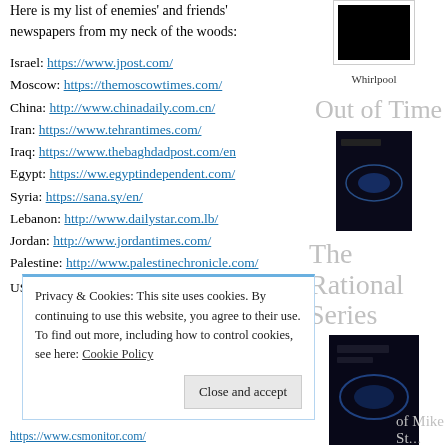Here is my list of enemies' and friends' newspapers from my neck of the woods:
Israel: https://www.jpost.com/
Moscow: https://themoscowtimes.com/
China: http://www.chinadaily.com.cn/
Iran: https://www.tehrantimes.com/
Iraq: https://www.thebaghdadpost.com/en
Egypt: https://ww.egyptindependent.com/
Syria: https://sana.sy/en/
Lebanon: http://www.dailystar.com.lb/
Jordan: http://www.jordantimes.com/
Palestine: http://www.palestinechronicle.com/
USA:
[Figure (photo): Book cover image with black background, labeled Whirlpool]
Whirlpool
Out of Time
[Figure (photo): Book cover: Out of Time, dark cover with blue light]
The Rational Series
[Figure (photo): Book cover: The Rational Series, dark cover with blue light]
Privacy & Cookies: This site uses cookies. By continuing to use this website, you agree to their use.
To find out more, including how to control cookies, see here: Cookie Policy
Close and accept
https://www.csmonitor.com/